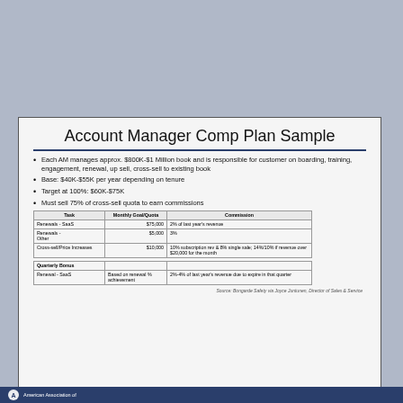Account Manager Comp Plan Sample
Each AM manages approx. $800K-$1 Million book and is responsible for customer on boarding, training, engagement, renewal, up sell, cross-sell to existing book
Base: $40K-$55K per year depending on tenure
Target at 100%: $60K-$75K
Must sell 75% of cross-sell quota to earn commissions
| Task | Monthly Goal/Quota | Commission |
| --- | --- | --- |
| Renewals - SaaS | $75,000 | 2% of last year's revenue |
| Renewals - Other | $5,000 | 3% |
| Cross-sell/Price Increases | $10,000 | 10% subscription rev & 8% single sale; 14%/10% if revenue over $20,000 for the month |
|  |  |  |
| --- | --- | --- |
| Quarterly Bonus |  |  |
| Renewal - SaaS | Based on renewal % achievement | 2%-4% of last year's revenue due to expire in that quarter |
Source: Bongarde Safety via Joyce Juntunen, Director of Sales & Service
American Association of